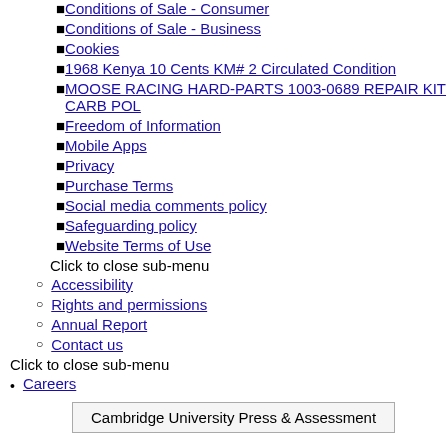Conditions of Sale - Consumer
Conditions of Sale - Business
Cookies
1968 Kenya 10 Cents KM# 2 Circulated Condition
MOOSE RACING HARD-PARTS 1003-0689 REPAIR KIT CARB POL
Freedom of Information
Mobile Apps
Privacy
Purchase Terms
Social media comments policy
Safeguarding policy
Website Terms of Use
Click to close sub-menu
Accessibility
Rights and permissions
Annual Report
Contact us
Click to close sub-menu
Careers
Cambridge University Press & Assessment
Careers